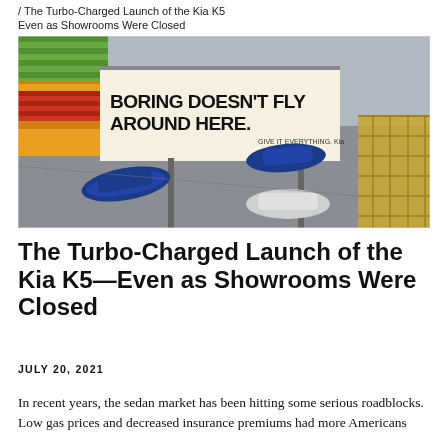/ The Turbo-Charged Launch of the Kia K5 Even as Showrooms Were Closed
[Figure (photo): Aerial view of a parking area with two blue cars and one white/silver car, with a billboard reading 'BORING DOESN'T FLY AROUND HERE. GIVE IT EVERYTHING. Kia' and colorful shipping containers in the background.]
The Turbo-Charged Launch of the Kia K5—Even as Showrooms Were Closed
JULY 20, 2021
In recent years, the sedan market has been hitting some serious roadblocks. Low gas prices and decreased insurance premiums had more Americans